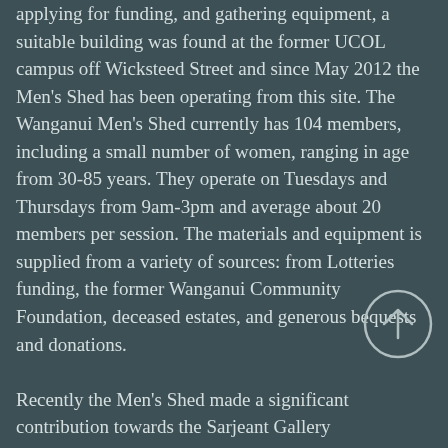applying for funding, and gathering equipment, a suitable building was found at the former UCOL campus off Wicksteed Street and since May 2012 the Men's Shed has been operating from this site. The Wanganui Men's Shed currently has 104 members, including a small number of women, ranging in age from 30-85 years. They operate on Tuesdays and Thursdays from 9am-3pm and average about 20 members per session. The materials and equipment is supplied from a variety of sources: from Lotteries funding, the former Wanganui Community Foundation, deceased estates, and generous bequests and donations.
Recently the Men's Shed made a significant contribution towards the Sarjeant Gallery